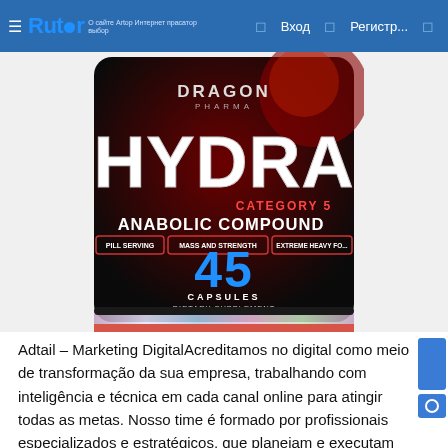☰ Rutor | Вход | Регистр...
[Figure (photo): Dragon Pharma HYDRA Category 5 Anabolic Compound supplement bottle, black with red accents, showing 45 capsules dietary supplement label with mass and strength claims]
Adtail – Marketing DigitalAcreditamos no digital como meio de transformação da sua empresa, trabalhando com inteligência e técnica em cada canal online para atingir todas as metas. Nosso time é formado por profissionais especializados e estratégicos, que planejam e executam ações em canais de e-